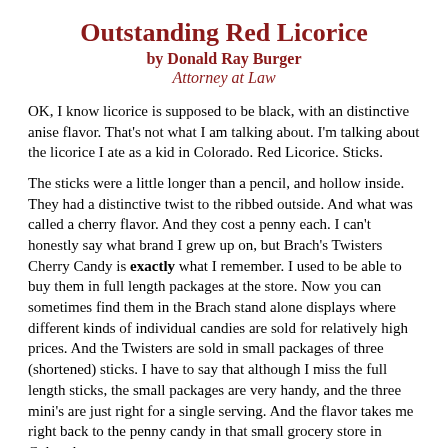Outstanding Red Licorice
by Donald Ray Burger
Attorney at Law
OK, I know licorice is supposed to be black, with an distinctive anise flavor. That's not what I am talking about. I'm talking about the licorice I ate as a kid in Colorado. Red Licorice. Sticks.
The sticks were a little longer than a pencil, and hollow inside. They had a distinctive twist to the ribbed outside. And what was called a cherry flavor. And they cost a penny each. I can't honestly say what brand I grew up on, but Brach's Twisters Cherry Candy is exactly what I remember. I used to be able to buy them in full length packages at the store. Now you can sometimes find them in the Brach stand alone displays where different kinds of individual candies are sold for relatively high prices. And the Twisters are sold in small packages of three (shortened) sticks. I have to say that although I miss the full length sticks, the small packages are very handy, and the three mini's are just right for a single serving. And the flavor takes me right back to the penny candy in that small grocery store in Colorado.
Sadly, I guess this posting was not enough to keep these magical sticks going. Read about how they off the market. I am happy to report...